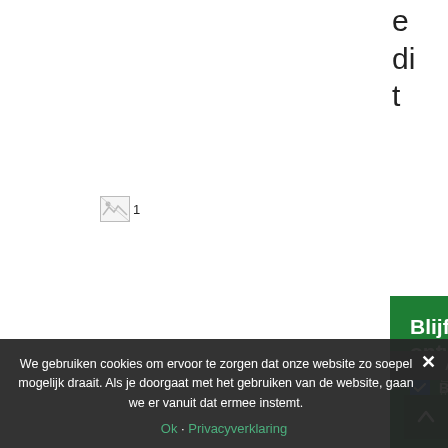e
di
t
[Figure (other): Broken image placeholder with number 1]
Blijf op de hoogte van onze ontwikkelingen!
Blog Hervé
ASAP & Burkin'art
E-mail
Aanmelden
We gebruiken cookies om ervoor te zorgen dat onze website zo soepel mogelijk draait. Als je doorgaat met het gebruiken van de website, gaan we er vanuit dat ermee instemt.
Ok · Privacyverklaring